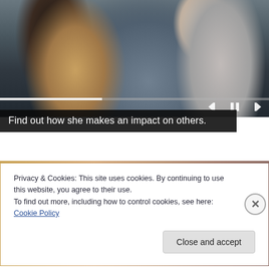[Figure (photo): Two women having a conversation across a table in what appears to be a counseling or office setting. The woman on the left is a Black woman with long hair wearing a beige cardigan, speaking and gesturing with her hands. The woman on the right is seen from behind with her hair up. A tissue box and glasses are visible on the table. Video player controls (rewind, pause, fast-forward) and a progress bar are visible overlaid on the image.]
Find out how she makes an impact on others.
Privacy & Cookies: This site uses cookies. By continuing to use this website, you agree to their use.
To find out more, including how to control cookies, see here: Cookie Policy